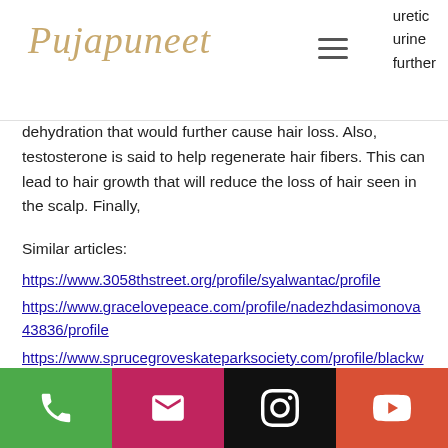Pujapuneet [logo] | uretic urine further
dehydration that would further cause hair loss. Also, testosterone is said to help regenerate hair fibers. This can lead to hair growth that will reduce the loss of hair seen in the scalp. Finally,
Similar articles:
https://www.3058thstreet.org/profile/syalwantac/profile
https://www.gracelovepeace.com/profile/nadezhdasimonova43836/profile
https://www.sprucegroveskateparksociety.com/profile/blackworliea/profile
https://www.147thandbrookville.com/profile/salasbeck8/profile
[Figure (other): Footer bar with four colored buttons: green phone icon, pink email icon, black Instagram icon, red YouTube icon]